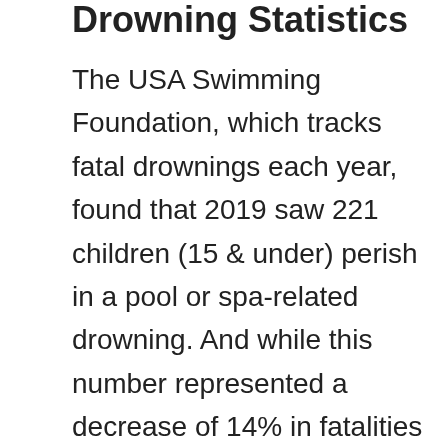Drowning Statistics
The USA Swimming Foundation, which tracks fatal drownings each year, found that 2019 saw 221 children (15 & under) perish in a pool or spa-related drowning. And while this number represented a decrease of 14% in fatalities from the previous year, it is nonetheless an unacceptable figure.
We know that pools can be dangerous; we understand the risks quite clearly, which also entails that we know how to